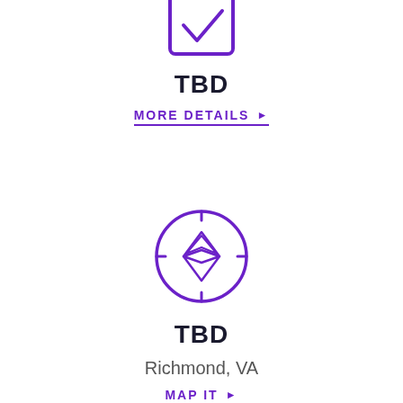[Figure (illustration): Purple outlined checkbox icon with a checkmark, partially visible at top of page]
TBD
MORE DETAILS ▶
[Figure (illustration): Purple outlined compass icon with needle/diamond shape inside a circle with tick marks]
TBD
Richmond, VA
MAP IT ▶